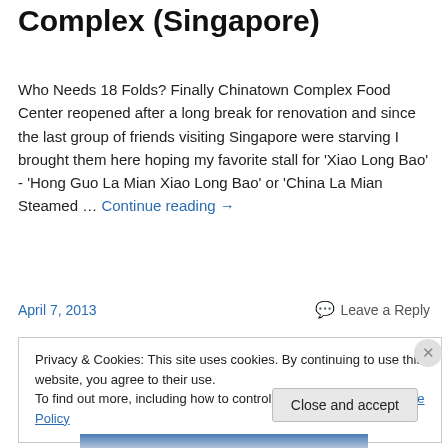Complex (Singapore)
Who Needs 18 Folds? Finally Chinatown Complex Food Center reopened after a long break for renovation and since the last group of friends visiting Singapore were starving I brought them here hoping my favorite stall for 'Xiao Long Bao' - 'Hong Guo La Mian Xiao Long Bao' or 'China La Mian Steamed … Continue reading →
April 7, 2013
Leave a Reply
Privacy & Cookies: This site uses cookies. By continuing to use this website, you agree to their use.
To find out more, including how to control cookies, see here: Cookie Policy
Close and accept